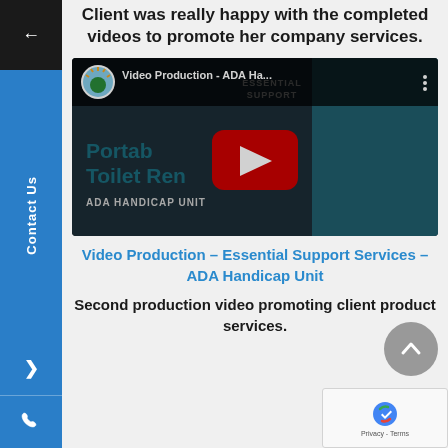Client was really happy with the completed videos to promote her company services.
[Figure (screenshot): YouTube video thumbnail for 'Video Production - ADA Ha...' showing a portable toilet rental ADA handicap unit with a YouTube play button overlay and a channel logo.]
Video Production – Essential Support Services – ADA Handicap Unit
Second production video promoting client product services.